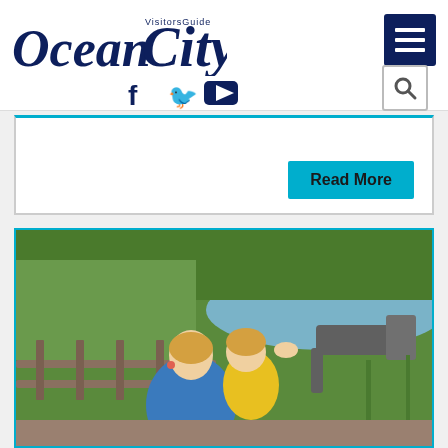[Figure (logo): Ocean City Visitors Guide logo in dark navy italic serif font]
[Figure (screenshot): Hamburger menu button (three horizontal white lines on navy blue square background)]
[Figure (screenshot): Social media icons: Facebook (f), Twitter (bird), YouTube (play button) in navy, and a search magnifying glass icon in a square button]
[Figure (screenshot): White content card with cyan top border and a cyan 'Read More' button at bottom right]
[Figure (photo): Woman in blue dress holding a young boy in yellow shirt on a wooden deck/boardwalk near water, with the child reaching toward a mounted binocular viewer, lush green trees and a pond/lake in background]